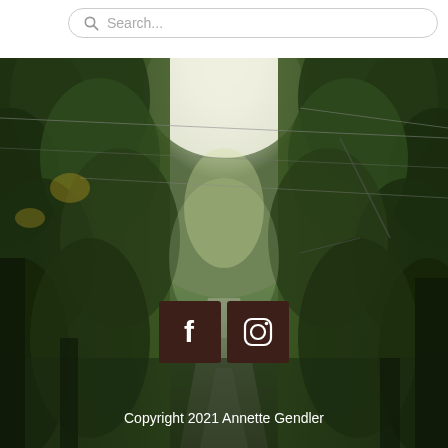[Figure (other): Search bar with magnifying glass icon and placeholder text 'Search...']
[Figure (photo): Outdoor photo of a tree-lined avenue or boulevard receding into the distance, with bright sky visible through the canopy gap in the center, lush green trees on both sides, and power/tram lines overhead. Two social media icons (Facebook and Instagram) overlaid on the lower center of the image.]
Copyright 2021 Annette Gendler